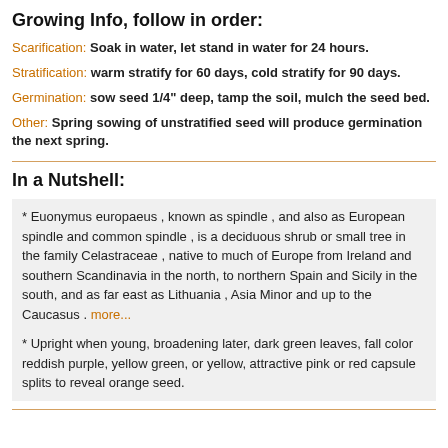Growing Info, follow in order:
Scarification: Soak in water, let stand in water for 24 hours.
Stratification: warm stratify for 60 days, cold stratify for 90 days.
Germination: sow seed 1/4" deep, tamp the soil, mulch the seed bed.
Other: Spring sowing of unstratified seed will produce germination the next spring.
In a Nutshell:
* Euonymus europaeus , known as spindle , and also as European spindle and common spindle , is a deciduous shrub or small tree in the family Celastraceae , native to much of Europe from Ireland and southern Scandinavia in the north, to northern Spain and Sicily in the south, and as far east as Lithuania , Asia Minor and up to the Caucasus . more...
* Upright when young, broadening later, dark green leaves, fall color reddish purple, yellow green, or yellow, attractive pink or red capsule splits to reveal orange seed.